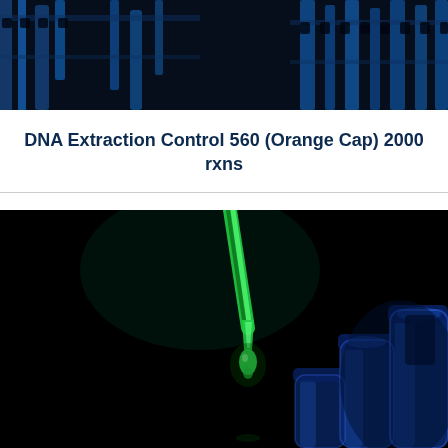[Figure (photo): Close-up photo of blue laboratory test tubes or pipettes on dark background, top portion of the page]
DNA Extraction Control 560 (Orange Cap) 2000 rxns
[Figure (photo): Dark laboratory photo showing green liquid dripping from a pipette tip into a droplet, with blue test tubes visible on the right side]